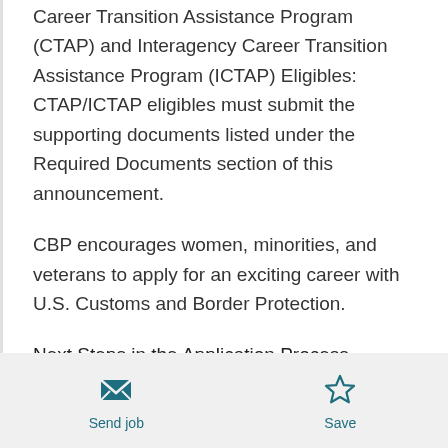Career Transition Assistance Program (CTAP) and Interagency Career Transition Assistance Program (ICTAP) Eligibles: CTAP/ICTAP eligibles must submit the supporting documents listed under the Required Documents section of this announcement.
CBP encourages women, minorities, and veterans to apply for an exciting career with U.S. Customs and Border Protection.
Next Steps in the Application Process
The open period for this job opportunity
Send job  Save